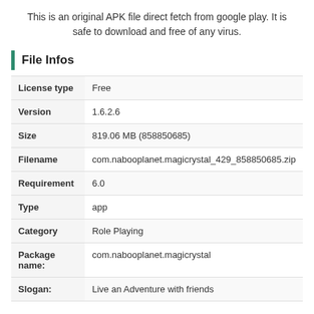This is an original APK file direct fetch from google play. It is safe to download and free of any virus.
File Infos
| Field | Value |
| --- | --- |
| License type | Free |
| Version | 1.6.2.6 |
| Size | 819.06 MB (858850685) |
| Filename | com.nabooplanet.magicrystal_429_858850685.zip |
| Requirement | 6.0 |
| Type | app |
| Category | Role Playing |
| Package name: | com.nabooplanet.magicrystal |
| Slogan: | Live an Adventure with friends |